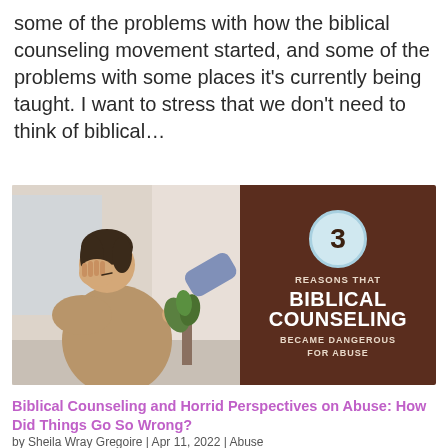some of the problems with how the biblical counseling movement started, and some of the problems with some places it's currently being taught. I want to stress that we don't need to think of biblical...
[Figure (photo): Left half: a distressed woman with her head in her hands and a hand reaching toward her. Right half: dark brown background with '3 REASONS THAT BIBLICAL COUNSELING BECAME DANGEROUS FOR ABUSE' text and a light blue circle with the number 3.]
Biblical Counseling and Horrid Perspectives on Abuse: How Did Things Go So Wrong?
by Sheila Wray Gregoire | Apr 11, 2022 | Abuse